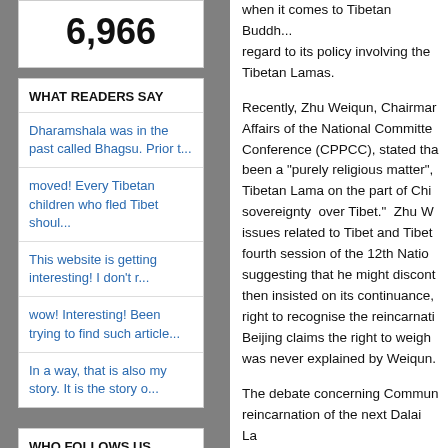6,966
WHAT READERS SAY
Dharamshala was in the past called Bhagsu. Prior t...
moved! Every Tibetan children who fled Tibet shoul...
This website is getting interesting! I don&#39;t r...
wow! Interesting! Been trying to find such article...
In a way, that is also my story. It is the story o...
WHO FOLLOWS US
when it comes to Tibetan Buddh... regard to its policy involving the Tibetan Lamas.
Recently, Zhu Weiqun, Chairman Affairs of the National Committee Conference (CPPCC), stated tha been a "purely religious matter", Tibetan Lama on the part of Chi sovereignty over Tibet." Zhu W issues related to Tibet and Tibet fourth session of the 12th Nation suggesting that he might discont then insisted on its continuance, right to recognise the reincarnati Beijing claims the right to weigh was never explained by Weiqun.
The debate concerning Commun reincarnation of the next Dalai La stated that the Tibetan people ha Lama. He further added that he n that a Chinese appointed Dalai L bringing disgrace to the institutio statement from the Dalai Lama n